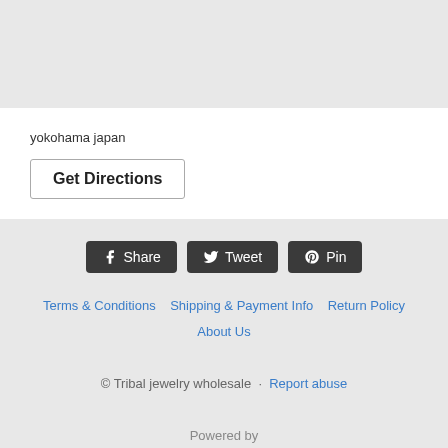[Figure (other): Gray banner/header area at top of page]
yokohama japan
Get Directions
[Figure (infographic): Social share buttons: Share (Facebook), Tweet (Twitter), Pin (Pinterest)]
Terms & Conditions  Shipping & Payment Info  Return Policy  About Us  © Tribal jewelry wholesale · Report abuse  Powered by Ecwid by Lightspeed